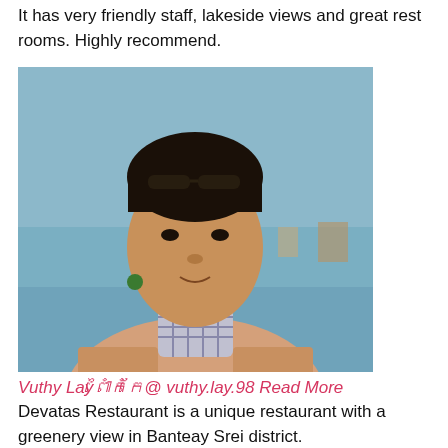It has very friendly staff, lakeside views and great rest rooms. Highly recommend.
[Figure (photo): Selfie of a young Southeast Asian man outdoors near water, wearing a checkered scarf and light jacket, with sunglasses on his head.]
Vuthy Layម្នាក់ក្រ៉@ vuthy.lay.98 Read More
Devatas Restaurant is a unique restaurant with a greenery view in Banteay Srei district.

Serving local Khmer food, the staff is very friendly, a good location, cheap price, has a lot of parking for all vehicles. I am recommending very nice restaurant, delicious food!
[Figure (photo): Partial photo of a person outdoors with rocky or mountainous background, only top of head visible.]